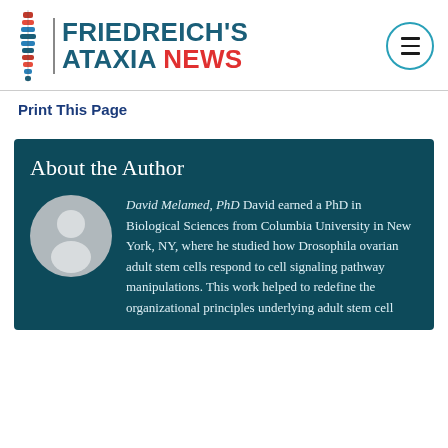FRIEDREICH'S ATAXIA NEWS
Print This Page
About the Author
David Melamed, PhD David earned a PhD in Biological Sciences from Columbia University in New York, NY, where he studied how Drosophila ovarian adult stem cells respond to cell signaling pathway manipulations. This work helped to redefine the organizational principles underlying adult stem cell